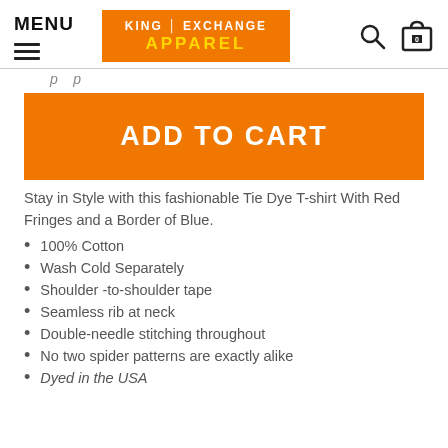MENU
[Figure (logo): King Exchange Apparel logo - orange background with white KING EXCHANGE text and yellow APPAREL text]
p p
ADD TO CART
Stay in Style with this fashionable Tie Dye T-shirt With Red Fringes and a Border of Blue.
100% Cotton
Wash Cold Separately
Shoulder -to-shoulder tape
Seamless rib at neck
Double-needle stitching throughout
No two spider patterns are exactly alike
Dyed in the USA